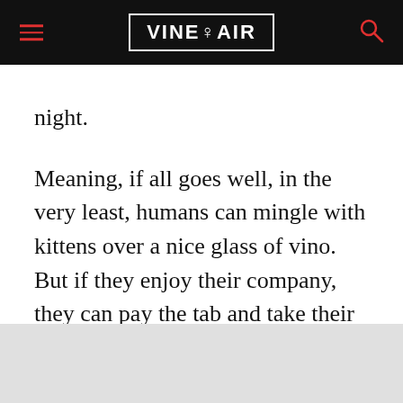VINEPAIR
night.
Meaning, if all goes well, in the very least, humans can mingle with kittens over a nice glass of vino. But if they enjoy their company, they can pay the tab and take their furry date home, hoping to get them into their bed for the night.